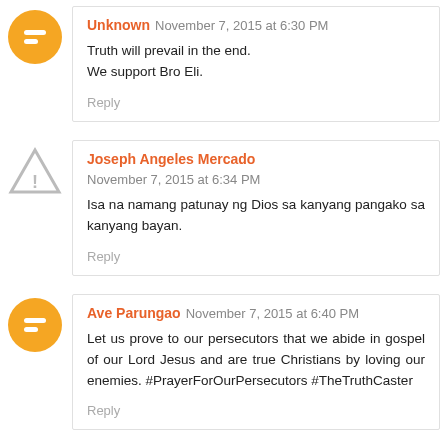Unknown November 7, 2015 at 6:30 PM
Truth will prevail in the end.
We support Bro Eli.
Reply
Joseph Angeles Mercado November 7, 2015 at 6:34 PM
Isa na namang patunay ng Dios sa kanyang pangako sa kanyang bayan.
Reply
Ave Parungao November 7, 2015 at 6:40 PM
Let us prove to our persecutors that we abide in gospel of our Lord Jesus and are true Christians by loving our enemies. #PrayerForOurPersecutors #TheTruthCaster
Reply